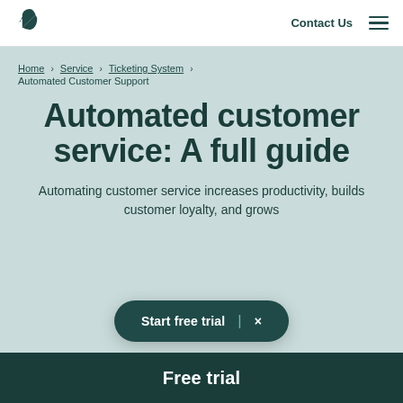Zendesk logo | Contact Us | Menu
Home > Service > Ticketing System > Automated Customer Support
Automated customer service: A full guide
Automating customer service increases productivity, builds customer loyalty, and grows
Start free trial  |  ×
Free trial